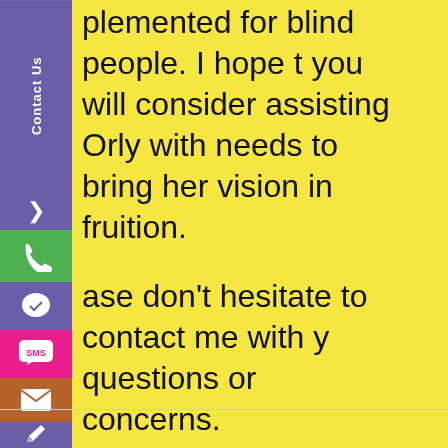plemented for blind people. I hope t you will consider assisting Orly with needs to bring her vision in fruition.
ase don't hesitate to contact me with y questions or concerns.
safe. Be well,
ti Lang
ef Instructor
McFatter Technical College